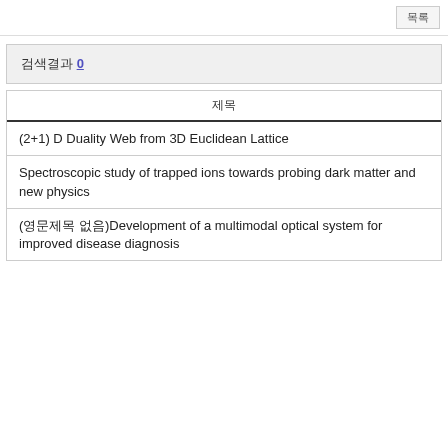목록
검색결과 0
| 제목 |
| --- |
| (2+1) D Duality Web from 3D Euclidean Lattice |
| Spectroscopic study of trapped ions towards probing dark matter and new physics |
| (영문제목 없음)Development of a multimodal optical system for improved disease diagnosis |